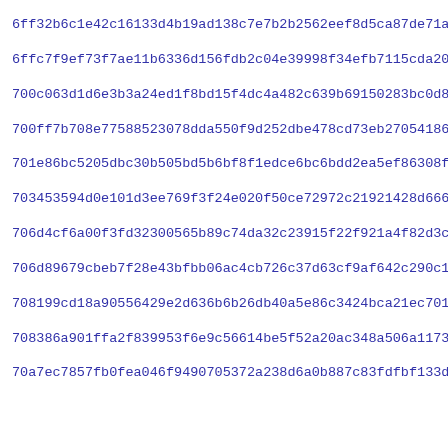6ff32b6c1e42c16133d4b19ad138c7e7b2b2562eef8d5ca87de71a81f5c8f...
6ffc7f9ef73f7ae11b6336d156fdb2c04e39998f34efb7115cda20e06f9ab...
700c063d1d6e3b3a24ed1f8bd15f4dc4a482c639b69150283bc0d8cd185ee...
700ff7b708e77588523078dda550f9d252dbe478cd73eb27054186b1d5521...
701e86bc5205dbc30b505bd5b6bf8f1edce6bc6bdd2ea5ef86308f7fe5236...
703453594d0e101d3ee769f3f24e020f50ce72972c21921428d6666bb65ec...
706d4cf6a00f3fd32300565b89c74da32c23915f22f921a4f82d3ca5fdeda...
706d89679cbeb7f28e43bfbb06ac4cb726c37d63cf9af642c290c12884d7c...
708199cd18a90556429e2d636b6b26db40a5e86c3424bca21ec70190c0fe4...
708386a901ffa2f839953f6e9c56614be5f52a20ac348a506a1173684e759...
70a7ec7857fb0fea046f9490705372a238d6a0b887c83fdfbf133d310a20c...